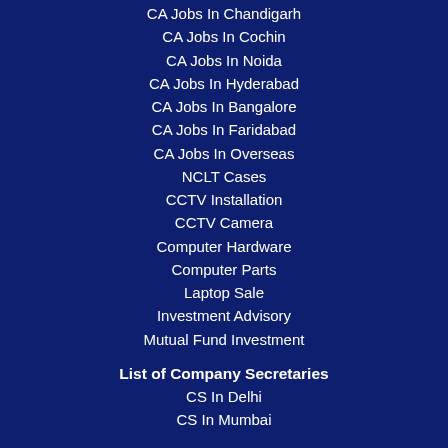CA Jobs In Chandigarh
CA Jobs In Cochin
CA Jobs In Noida
CA Jobs In Hyderabad
CA Jobs In Bangalore
CA Jobs In Faridabad
CA Jobs In Overseas
NCLT Cases
CCTV Installation
CCTV Camera
Computer Hardware
Computer Parts
Laptop Sale
Investment Advisory
Mutual Fund Investment
List of Company Secretaries
CS In Delhi
CS In Mumbai